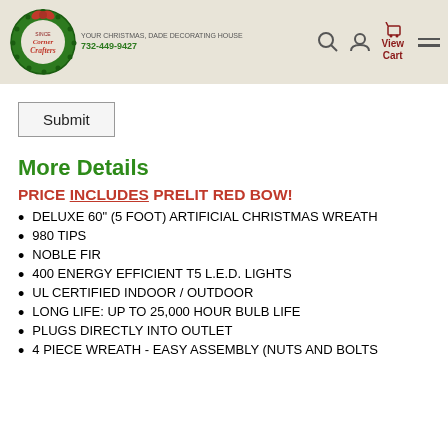[Figure (logo): Corner Crafters logo: green Christmas wreath with red bow, red cursive 'Corner Crafters' text, phone number 732-449-9427]
Corner Crafters | 732-449-9427 | Search | Account | View Cart | Menu
Submit
More Details
PRICE INCLUDES PRELIT RED BOW!
DELUXE 60" (5 FOOT) ARTIFICIAL CHRISTMAS WREATH
980 TIPS
NOBLE FIR
400 ENERGY EFFICIENT T5 L.E.D. LIGHTS
UL CERTIFIED INDOOR / OUTDOOR
LONG LIFE: UP TO 25,000 HOUR BULB LIFE
PLUGS DIRECTLY INTO OUTLET
4 PIECE WREATH - EASY ASSEMBLY (NUTS AND BOLTS